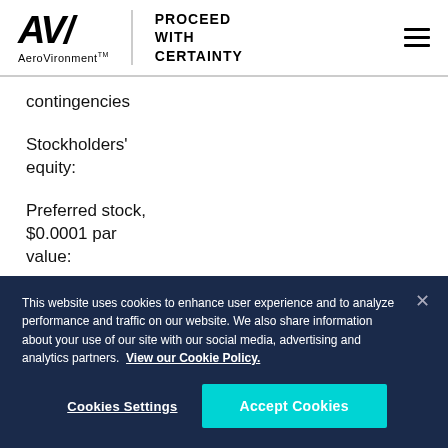AeroVironment™ — PROCEED WITH CERTAINTY
contingencies
Stockholders' equity:
Preferred stock, $0.0001 par value:
This website uses cookies to enhance user experience and to analyze performance and traffic on our website. We also share information about your use of our site with our social media, advertising and analytics partners. View our Cookie Policy.
Cookies Settings
Accept Cookies